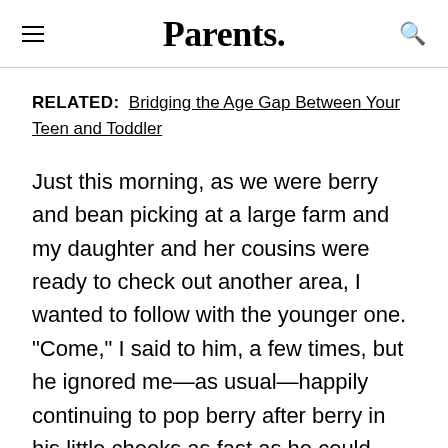Parents.
RELATED: Bridging the Age Gap Between Your Teen and Toddler
Just this morning, as we were berry and bean picking at a large farm and my daughter and her cousins were ready to check out another area, I wanted to follow with the younger one. "Come," I said to him, a few times, but he ignored me—as usual—happily continuing to pop berry after berry in his little cheeks as fast as he could grab them